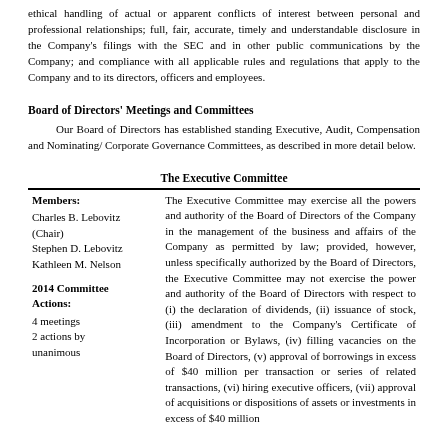ethical handling of actual or apparent conflicts of interest between personal and professional relationships; full, fair, accurate, timely and understandable disclosure in the Company's filings with the SEC and in other public communications by the Company; and compliance with all applicable rules and regulations that apply to the Company and to its directors, officers and employees.
Board of Directors' Meetings and Committees
Our Board of Directors has established standing Executive, Audit, Compensation and Nominating/ Corporate Governance Committees, as described in more detail below.
The Executive Committee
| Members / Committee Actions | Description |
| --- | --- |
| Members:
Charles B. Lebovitz (Chair)
Stephen D. Lebovitz
Kathleen M. Nelson

2014 Committee Actions:
4 meetings
2 actions by unanimous | The Executive Committee may exercise all the powers and authority of the Board of Directors of the Company in the management of the business and affairs of the Company as permitted by law; provided, however, unless specifically authorized by the Board of Directors, the Executive Committee may not exercise the power and authority of the Board of Directors with respect to (i) the declaration of dividends, (ii) issuance of stock, (iii) amendment to the Company's Certificate of Incorporation or Bylaws, (iv) filling vacancies on the Board of Directors, (v) approval of borrowings in excess of $40 million per transaction or series of related transactions, (vi) hiring executive officers, (vii) approval of acquisitions or dispositions of assets or investments in excess of $40 million... |